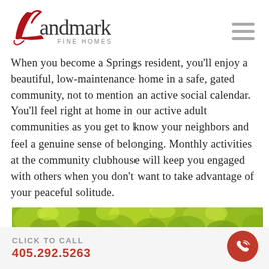[Figure (logo): Landmark Fine Homes logo with red stylized L and gray text]
When you become a Springs resident, you'll enjoy a beautiful, low-maintenance home in a safe, gated community, not to mention an active social calendar. You'll feel right at home in our active adult communities as you get to know your neighbors and feel a genuine sense of belonging. Monthly activities at the community clubhouse will keep you engaged with others when you don't want to take advantage of your peaceful solitude.
[Figure (photo): Partial photo of green trees/foliage]
CLICK TO CALL
405.292.5263